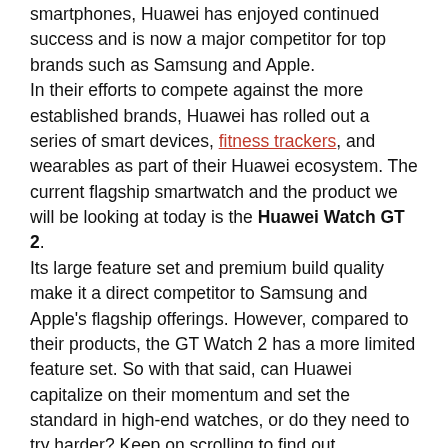smartphones, Huawei has enjoyed continued success and is now a major competitor for top brands such as Samsung and Apple.
In their efforts to compete against the more established brands, Huawei has rolled out a series of smart devices, fitness trackers, and wearables as part of their Huawei ecosystem. The current flagship smartwatch and the product we will be looking at today is the Huawei Watch GT 2.
Its large feature set and premium build quality make it a direct competitor to Samsung and Apple's flagship offerings. However, compared to their products, the GT Watch 2 has a more limited feature set. So with that said, can Huawei capitalize on their momentum and set the standard in high-end watches, or do they need to try harder? Keep on scrolling to find out.
I purchased the Huawei Watch GT 2 46mm Version in February 2020 and, at the time, paid $218
2022 Update – The GT2 is still a top choice if you're